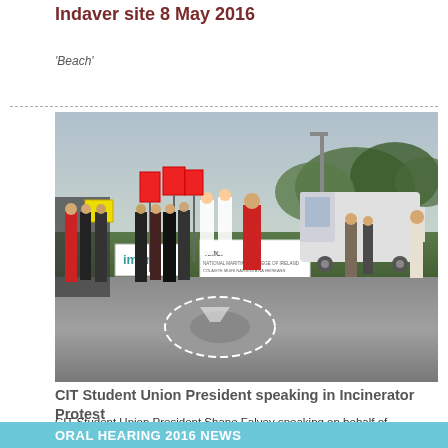Indaver site 8 May 2016
'Beach'
[Figure (photo): Protest rally outside NMCI/imerc building in Ringaskiddy, protesters holding signs, man in red jacket speaking, white van in background, overcast day]
CIT Student Union President speaking in Incinerator Protest
CIT Student Union President Shane Falvey speaking on behalf of members of NMCI student body, at rally in Ringaskiddy 3 March 2016, to protest Indavers Plans to build a 240,000 municipal and industrial waste
ORAL HEARING 2016 NEWS